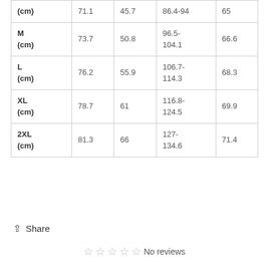| (cm) | 71.1 | 45.7 | 86.4-94 | 65 |
| M (cm) | 73.7 | 50.8 | 96.5-104.1 | 66.6 |
| L (cm) | 76.2 | 55.9 | 106.7-114.3 | 68.3 |
| XL (cm) | 78.7 | 61 | 116.8-124.5 | 69.9 |
| 2XL (cm) | 81.3 | 66 | 127-134.6 | 71.4 |
Share
No reviews